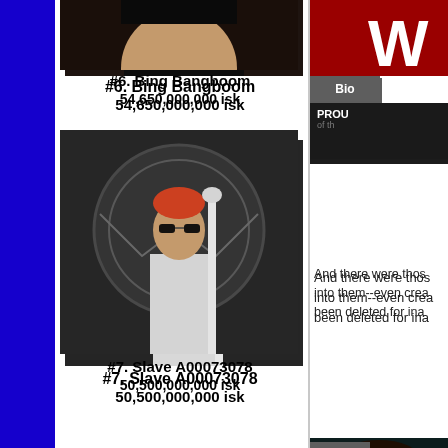[Figure (photo): Avatar portrait for Bing Bangboom - character face]
#6. Bing Bangboom
54,650,000,000 isk
[Figure (photo): Avatar portrait for Slave A00073078 - character with sunglasses and white outfit]
#7. Slave A00073078
50,500,000,000 isk
[Figure (photo): Avatar portrait for ST0NER SMURF - character with aviator sunglasses]
#8. ST0NER SMURF
50,315,000,000 isk
[Figure (photo): Partial avatar portrait at bottom]
[Figure (screenshot): Right side panel showing W logo, Bio tab, PROUD text block]
And there were thos into them--even crea been deleted for ina
[Figure (photo): Right side avatar portrait - dark teal background character]
[Figure (screenshot): Bio tab and CODE tab on right panel]